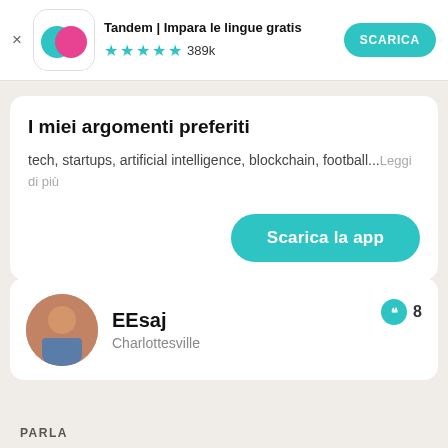[Figure (screenshot): App store ad banner for Tandem language learning app with icon, title, star rating and download button]
I miei argomenti preferiti
tech, startups, artificial intelligence, blockchain, football...Leggi di più
[Figure (other): Scarica la app teal rounded button]
[Figure (photo): Profile photo of EEsaj, a person sitting outdoors]
EEsaj
Charlottesville
8 (message count badge)
PARLA